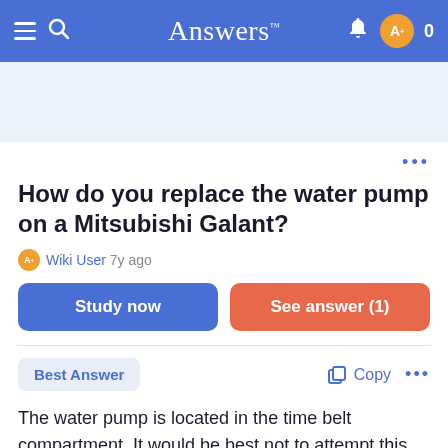Answers™
[Figure (screenshot): Blue navigation bar with hamburger menu, search icon, Answers logo, bell icon, avatar circle, and 0 counter]
[Figure (screenshot): Light blue advertisement banner area]
How do you replace the water pump on a Mitsubishi Galant?
Wiki User 7y ago
Study now
See answer (1)
Best Answer
Copy
The water pump is located in the time belt compartment. It would be best not to attempt this